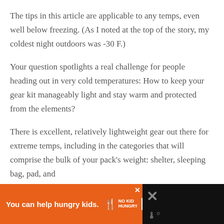The tips in this article are applicable to any temps, even well below freezing. (As I noted at the top of the story, my coldest night outdoors was -30 F.)
Your question spotlights a real challenge for people heading out in very cold temperatures: How to keep your gear kit manageably light and stay warm and protected from the elements?
There is excellent, relatively lightweight gear out there for extreme temps, including in the categories that will comprise the bulk of your pack's weight: shelter, sleeping bag, pad, and
[Figure (other): Advertisement banner: orange background with text 'You can help hungry kids.' and No Kid Hungry logo with 'LEARN HOW' button. Black right panel with X close button and thermometer icon.]